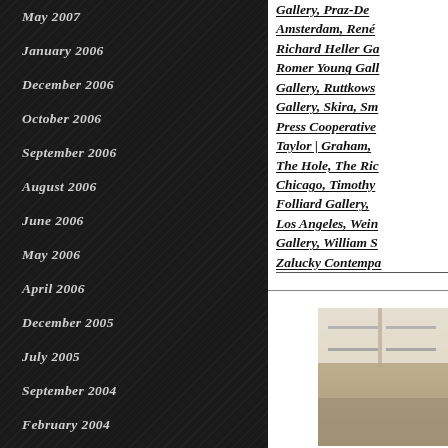May 2007
January 2006
December 2006
October 2006
September 2006
August 2006
June 2006
May 2006
April 2006
December 2005
July 2005
September 2004
February 2004
January 2004
Gallery, Praz-De... Amsterdam, René... Richard Heller Ga... Romer Young Gall... Gallery, Ruttkows... Gallery, Skira, Sm... Press Cooperative... Taylor | Graham, ... The Hole, The Ric... Chicago, Timothy ... Folliard Gallery, ... Los Angeles, Wein... Gallery, William S... Zalucky Contempa...
[Figure (photo): Interior photograph showing white shelving or architectural installation in a gallery space]